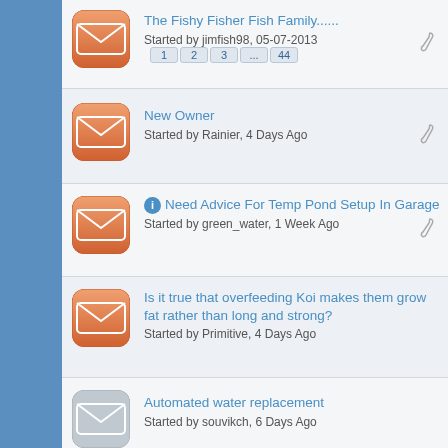The Fishy Fisher Fish Family...... Started by jimfish98, 05-07-2013 1 2 3 ... 44
New Owner Started by Rainier, 4 Days Ago
Need Advice For Temp Pond Setup In Garage Started by green_water, 1 Week Ago
Is it true that overfeeding Koi makes them grow fat rather than long and strong? Started by Primitive, 4 Days Ago
Automated water replacement Started by souvikch, 6 Days Ago
Re: A question on a SacKoi Advantage 5 bead filter Started by UnkleTim, 1 Week Ago